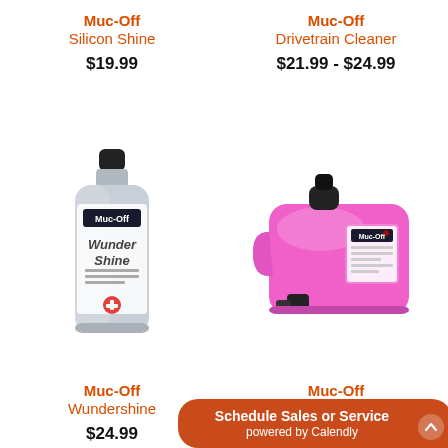Muc-Off
Silicon Shine
$19.99
Muc-Off
Drivetrain Cleaner
$21.99 - $24.99
[Figure (photo): Muc-Off Wundershine silver aluminum bottle with black cap]
[Figure (photo): Muc-Off Nano Tech Cycle Cleaner large pink plastic container/jug]
Muc-Off
Wundershine
$24.99
Muc-Off
Nano Tech Cycle Cleaner
$154.99
Schedule Sales or Service
powered by Calendly